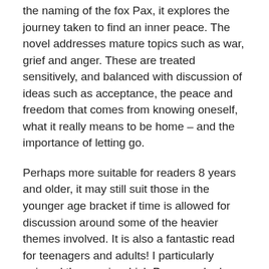the naming of the fox Pax, it explores the journey taken to find an inner peace. The novel addresses mature topics such as war, grief and anger. These are treated sensitively, and balanced with discussion of ideas such as acceptance, the peace and freedom that comes from knowing oneself, what it really means to be home – and the importance of letting go.
Perhaps more suitable for readers 8 years and older, it may still suit those in the younger age bracket if time is allowed for discussion around some of the heavier themes involved. It is also a fantastic read for teenagers and adults! I particularly enjoyed the way in which Pennypacker's extensive research of red fox behaviour lent credibility to the story of Pax. The portrayal of Pax's thoughts and feelings is realistic and offers the kind of